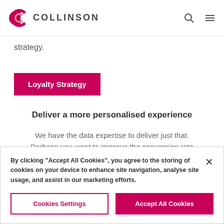COLLINSON
strategy.
Loyalty Strategy
Deliver a more personalised experience
We have the data expertise to deliver just that. Perhaps you want to improve the conversion rate
By clicking “Accept All Cookies”, you agree to the storing of cookies on your device to enhance site navigation, analyse site usage, and assist in our marketing efforts.
Cookies Settings
Accept All Cookies